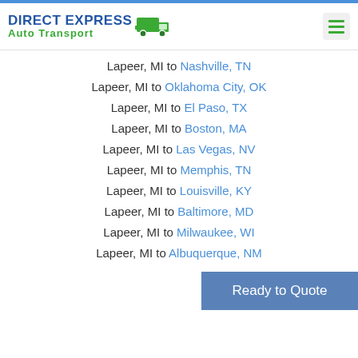Direct Express Auto Transport
Lapeer, MI to Nashville, TN
Lapeer, MI to Oklahoma City, OK
Lapeer, MI to El Paso, TX
Lapeer, MI to Boston, MA
Lapeer, MI to Las Vegas, NV
Lapeer, MI to Memphis, TN
Lapeer, MI to Louisville, KY
Lapeer, MI to Baltimore, MD
Lapeer, MI to Milwaukee, WI
Lapeer, MI to Albuquerque, NM